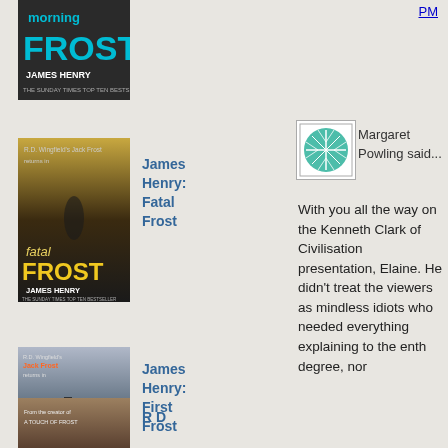PM
[Figure (illustration): Book cover: Morning Frost by James Henry, The Sunday Times Top Ten Bestseller]
[Figure (illustration): Book cover: Fatal Frost by James Henry, R.D. Wingfield's Jack Frost, The Sunday Times Top Ten Bestseller]
James Henry: Fatal Frost
[Figure (illustration): Book cover: First Frost by James Henry, R.D. Wingfield's Jack Frost returns in]
James Henry: First Frost
[Figure (illustration): Book cover: R D (partial, bottom of page)]
R D
[Figure (illustration): Teal/green abstract avatar icon for Margaret Powling]
Margaret Powling said...
With you all the way on the Kenneth Clark of Civilisation presentation, Elaine. He didn't treat the viewers as mindless idiots who needed everything explaining to the enth degree, nor